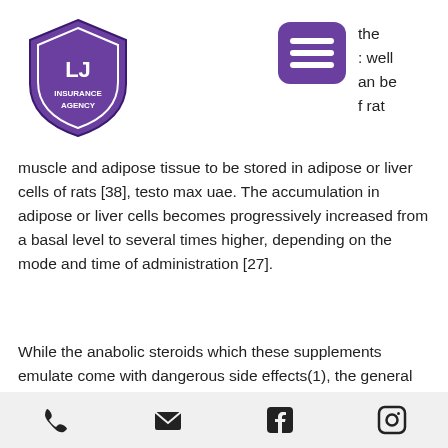[Figure (logo): LJ Insurance Agency shield logo in purple]
[Figure (other): Purple hamburger menu icon button]
the
: well
an be
f rat
muscle and adipose tissue to be stored in adipose or liver cells of rats [38], testo max uae. The accumulation in adipose or liver cells becomes progressively increased from a basal level to several times higher, depending on the mode and time of administration [27].
While the anabolic steroids which these supplements emulate come with dangerous side effects(1), the general tone of the Crazy Bulk reviews is that there are no serious side effects at allwith anabolic steroids and that the only harmful side effects that can occur
Phone | Email | Facebook | Instagram